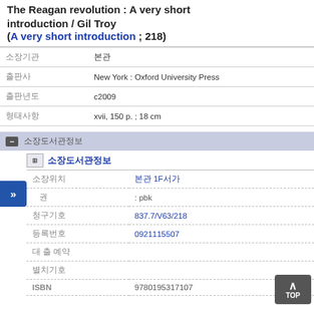The Reagan revolution : A very short introduction / Gil Troy (A very short introduction ; 218)
| field | value |
| --- | --- |
| 소장기관 | 본관 |
| 출판사 | New York : Oxford University Press |
| 출판년도 | c2009 |
| 형태사항 | xvii, 150 p. ; 18 cm |
소장정보
소장도서관정보
| field | value |
| --- | --- |
| 소장위치 | 본관 1F서가 |
| 권 | : pbk |
| 청구기호 | 837.7/V63/218 |
| 등록번호 | 0921115507 |
| 대출 예약 |  |
| 별치기호 |  |
| ISBN | 9780195317107 |